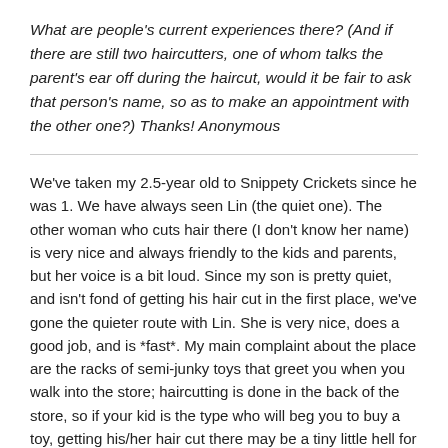What are people's current experiences there? (And if there are still two haircutters, one of whom talks the parent's ear off during the haircut, would it be fair to ask that person's name, so as to make an appointment with the other one?) Thanks! Anonymous
We've taken my 2.5-year old to Snippety Crickets since he was 1. We have always seen Lin (the quiet one). The other woman who cuts hair there (I don't know her name) is very nice and always friendly to the kids and parents, but her voice is a bit loud. Since my son is pretty quiet, and isn't fond of getting his hair cut in the first place, we've gone the quieter route with Lin. She is very nice, does a good job, and is *fast*. My main complaint about the place are the racks of semi-junky toys that greet you when you walk into the store; haircutting is done in the back of the store, so if your kid is the type who will beg you to buy a toy, getting his/her hair cut there may be a tiny little hell for you. But on the plus side, they have a train table out that your child can play with while you wait for your appointment. Anon